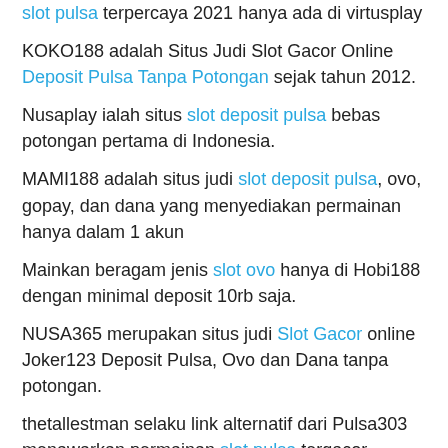slot pulsa terpercaya 2021 hanya ada di virtusplay
KOKO188 adalah Situs Judi Slot Gacor Online Deposit Pulsa Tanpa Potongan sejak tahun 2012.
Nusaplay ialah situs slot deposit pulsa bebas potongan pertama di Indonesia.
MAMI188 adalah situs judi slot deposit pulsa, ovo, gopay, dan dana yang menyediakan permainan hanya dalam 1 akun
Mainkan beragam jenis slot ovo hanya di Hobi188 dengan minimal deposit 10rb saja.
NUSA365 merupakan situs judi Slot Gacor online Joker123 Deposit Pulsa, Ovo dan Dana tanpa potongan.
thetallestman selaku link alternatif dari Pulsa303 menawarkan permainan slot pulsa tergacor.
Nusa188 adalah situs judi slot deposit pulsa tanpa